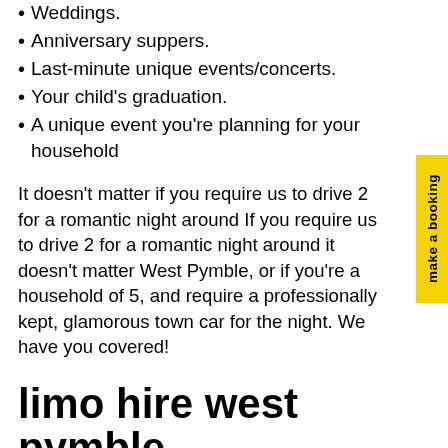Weddings.
Anniversary suppers.
Last-minute unique events/concerts.
Your child's graduation.
A unique event you're planning for your household
It doesn't matter if you require us to drive 2 for a romantic night around If you require us to drive 2 for a romantic night around it doesn't matter West Pymble, or if you're a household of 5, and require a professionally kept, glamorous town car for the night. We have you covered!
limo hire west pymble
If you want to experience world-class luxury while traveling around, if you want to experience world-class luxury